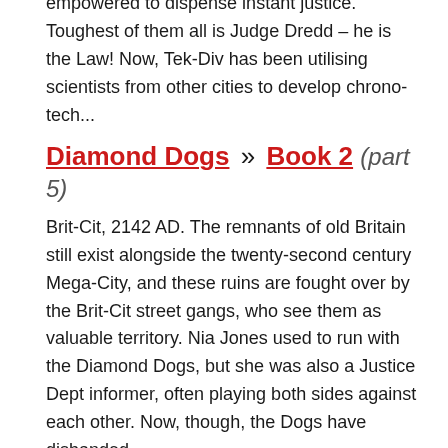empowered to dispense instant justice. Toughest of them all is Judge Dredd – he is the Law! Now, Tek-Div has been utilising scientists from other cities to develop chrono-tech...
Diamond Dogs » Book 2 (part 5)
Brit-Cit, 2142 AD. The remnants of old Britain still exist alongside the twenty-second century Mega-City, and these ruins are fought over by the Brit-Cit street gangs, who see them as valuable territory. Nia Jones used to run with the Diamond Dogs, but she was also a Justice Dept informer, often playing both sides against each other. Now, though, the Dogs have disbanded...
Angelic » Restitution (part 2)
The Texas City Radlands, 2077. He emerged out of the desolate wastelands without a name or able to remember much of his past. Injured, clearly fleeing from individuals who want to do him harm, all he could do was mouth the word 'Angel'. Now, escaping his former life, Angel is making a home in the Cursed Earth with his adopted son Linc and strange mutant The Varmint...